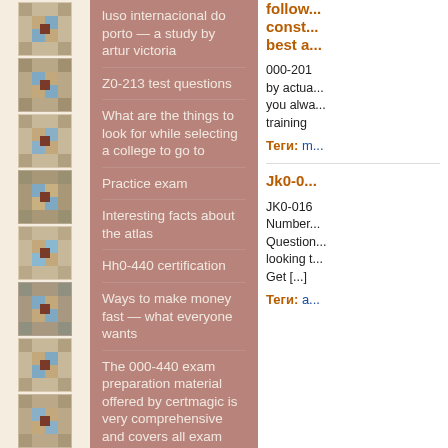[Figure (illustration): Left decorative column with repeating square quilt-pattern tiles in beige, blue, brown and grey colors]
luso internacional do porto — a study by artur victoria
Z0-213 test questions
What are the things to look for while selecting a college to go to
Practice exam
Interesting facts about the atlas
Hh0-440 certification
Ways to make money fast — what everyone wants
The 000-440 exam preparation material offered by certmagic is very comprehensive and covers all exam questions that need to be covered to pass the 000-440 exam
Proven tips & tricks to get a scholarship
Research on education
follow... const... best a...
000-201 by actua... you alwa... training
Теги: m...
Jk0-0...
JK0-016 Number... Question... looking t... Get [...]
Теги: a...